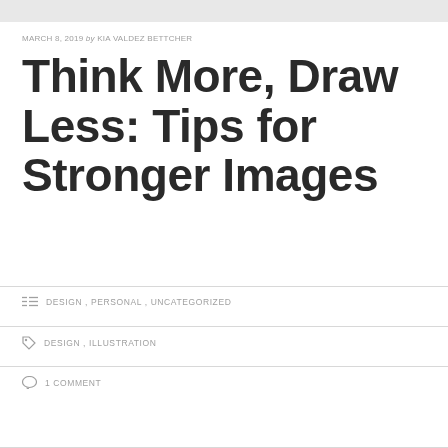MARCH 8, 2019 by KIA VALDEZ BETTCHER
Think More, Draw Less: Tips for Stronger Images
DESIGN , PERSONAL , UNCATEGORIZED
DESIGN , ILLUSTRATION
1 COMMENT